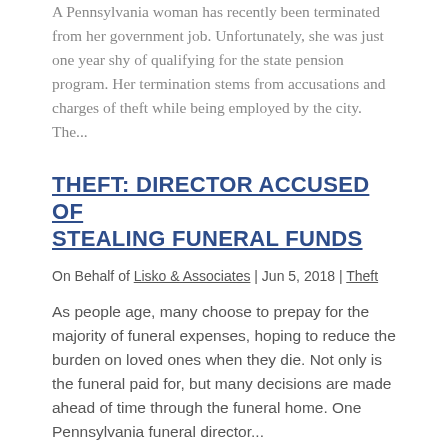A Pennsylvania woman has recently been terminated from her government job. Unfortunately, she was just one year shy of qualifying for the state pension program. Her termination stems from accusations and charges of theft while being employed by the city. The...
THEFT: DIRECTOR ACCUSED OF STEALING FUNERAL FUNDS
On Behalf of Lisko & Associates | Jun 5, 2018 | Theft
As people age, many choose to prepay for the majority of funeral expenses, hoping to reduce the burden on loved ones when they die. Not only is the funeral paid for, but many decisions are made ahead of time through the funeral home. One Pennsylvania funeral director...
MAN LOSES THOUSANDS TO SCAM